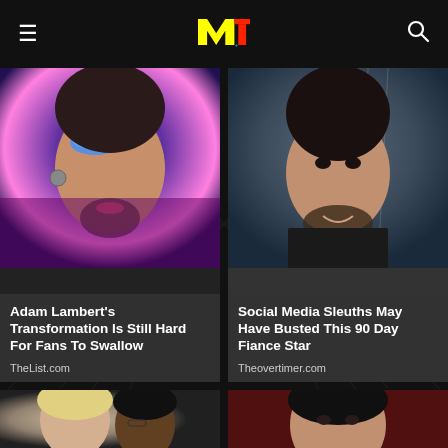MTV
[Figure (photo): Adam Lambert with blue glitter eyeshadow and dramatic makeup]
Adam Lambert's Transformation Is Still Hard For Fans To Swallow
TheList.com
[Figure (photo): Young man with beard smiling, 90 Day Fiance star]
Social Media Sleuths May Have Busted This 90 Day Fiance Star
Theovertimer.com
[Figure (photo): Martha Stewart and Snoop Dogg - partial view at bottom]
[Figure (photo): Woman with dark hair - partial view at bottom]